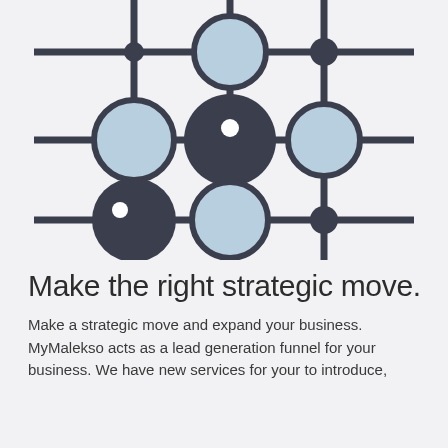[Figure (network-graph): A grid-like network diagram with dark navy nodes connected by horizontal and vertical lines. Large dark filled circles, large light blue circles, small dark circles, and small light circles are arranged in a 3x3 grid pattern with connecting lines extending beyond the grid edges.]
Make the right strategic move.
Make a strategic move and expand your business. MyMalekso acts as a lead generation funnel for your business. We have new services for your to introduce,